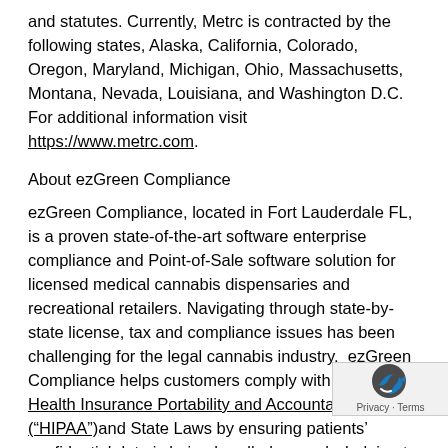and statutes. Currently, Metrc is contracted by the following states, Alaska, California, Colorado, Oregon, Maryland, Michigan, Ohio, Massachusetts, Montana, Nevada, Louisiana, and Washington D.C. For additional information visit https://www.metrc.com.
About ezGreen Compliance
ezGreen Compliance, located in Fort Lauderdale FL, is a proven state-of-the-art software enterprise compliance and Point-of-Sale software solution for licensed medical cannabis dispensaries and recreational retailers. Navigating through state-by-state license, tax and compliance issues has been challenging for the legal cannabis industry.  ezGreen Compliance helps customers comply with both the Health Insurance Portability and Accountability Act (“HIPAA”)and State Laws by ensuring patients’ confidential data is being handled properly, helping to protect from possible security breaches and financial and criminal liability resulting from potential violations while providing operators with a seamless and